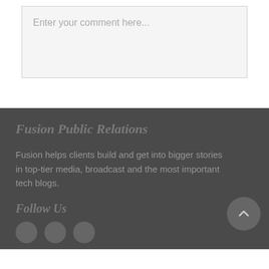Enter your comment here...
Fusion Public Relations
Fusion helps clients build and get into bigger stories in top-tier media, broadcast and the most important tech blogs.
Follow Us